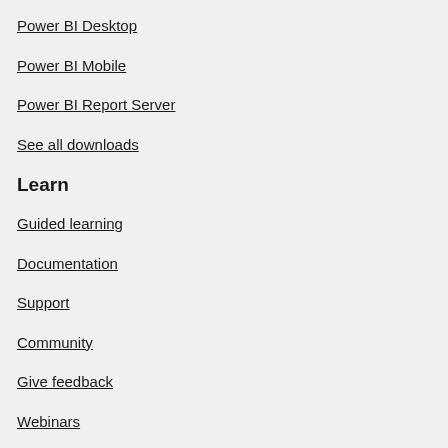Power BI Desktop
Power BI Mobile
Power BI Report Server
See all downloads
Learn
Guided learning
Documentation
Support
Community
Give feedback
Webinars
Developers
Blog